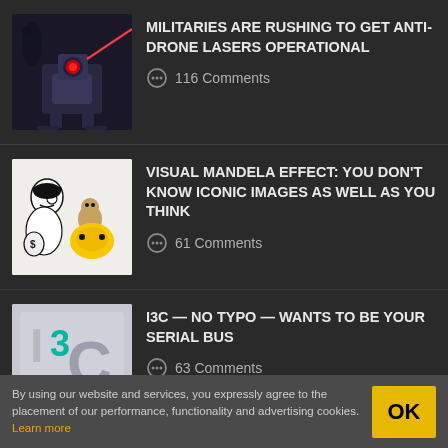[Figure (illustration): Dark illustration of a robotic anti-drone laser weapon system with a red laser beam]
MILITARIES ARE RUSHING TO GET ANTI-DRONE LASERS OPERATIONAL
💬 116 Comments
[Figure (illustration): Black and white cartoon showing Monopoly man, a monkey riding Pikachu, and other iconic characters]
VISUAL MANDELA EFFECT: YOU DON'T KNOW ICONIC IMAGES AS WELL AS YOU THINK
💬 61 Comments
[Figure (illustration): I3C BUS logo with teal/green numeral 3 and large C letter on grey background]
I3C — NO TYPO — WANTS TO BE YOUR SERIAL BUS
💬 63 Comments
By using our website and services, you expressly agree to the placement of our performance, functionality and advertising cookies. Learn more  OK